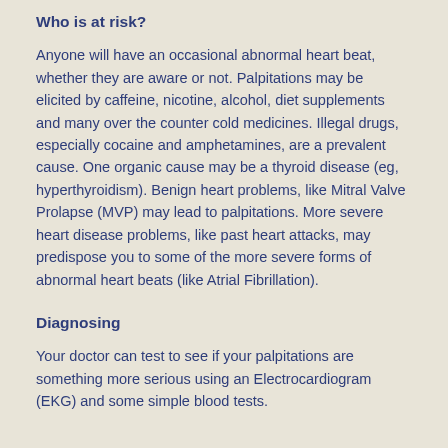Who is at risk?
Anyone will have an occasional abnormal heart beat, whether they are aware or not. Palpitations may be elicited by caffeine, nicotine, alcohol, diet supplements and many over the counter cold medicines. Illegal drugs, especially cocaine and amphetamines, are a prevalent cause. One organic cause may be a thyroid disease (eg, hyperthyroidism). Benign heart problems, like Mitral Valve Prolapse (MVP) may lead to palpitations. More severe heart disease problems, like past heart attacks, may predispose you to some of the more severe forms of abnormal heart beats (like Atrial Fibrillation).
Diagnosing
Your doctor can test to see if your palpitations are something more serious using an Electrocardiogram (EKG) and some simple blood tests.